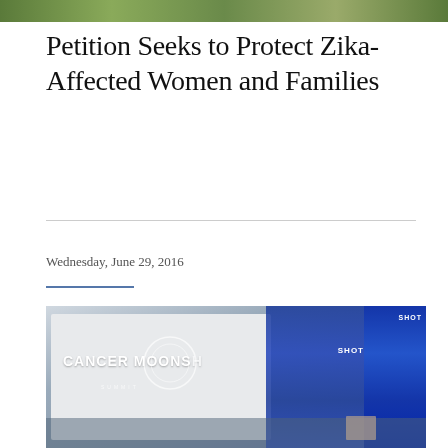[Figure (photo): Top banner image of green foliage/plants]
Petition Seeks to Protect Zika-Affected Women and Families
Wednesday, June 29, 2016
[Figure (photo): Photo of Cancer Moonshot Summit event with large projection screen displaying 'CANCER MOONSHOT SUMMIT' logo and blue drapery backdrop]